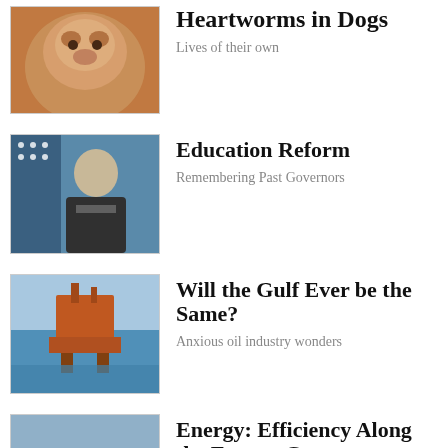[Figure (photo): Close-up photo of a dog (brown/white coloring), partially cut off at top of page]
Heartworms in Dogs
Lives of their own
[Figure (photo): Black and white photo of a man in a suit with an American flag in the background]
Education Reform
Remembering Past Governors
[Figure (photo): Photo of an offshore oil drilling platform in blue water]
Will the Gulf Ever be the Same?
Anxious oil industry wonders
[Figure (photo): Photo of workers installing solar panels outdoors]
Energy: Efficiency Along the Energy Coast
Louisiana is one of the biggest